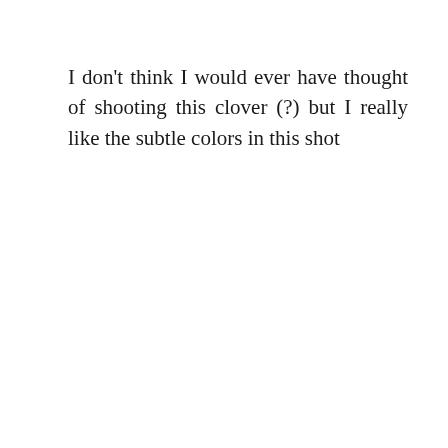I don't think I would ever have thought of shooting this clover (?) but I really like the subtle colors in this shot